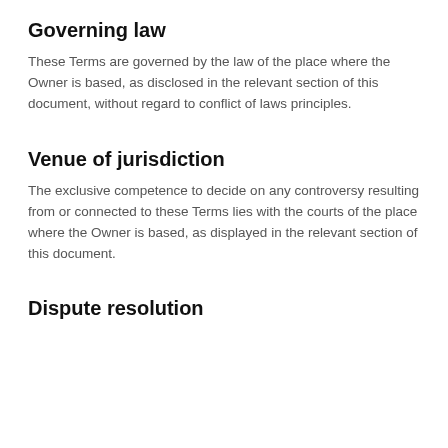Governing law
These Terms are governed by the law of the place where the Owner is based, as disclosed in the relevant section of this document, without regard to conflict of laws principles.
Venue of jurisdiction
The exclusive competence to decide on any controversy resulting from or connected to these Terms lies with the courts of the place where the Owner is based, as displayed in the relevant section of this document.
Dispute resolution